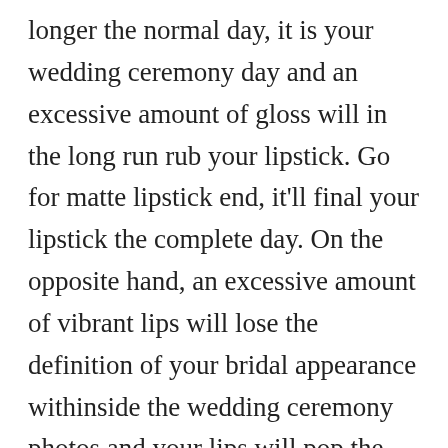longer the normal day, it is your wedding ceremony day and an excessive amount of gloss will in the long run rub your lipstick. Go for matte lipstick end, it'll final your lipstick the complete day. On the opposite hand, an excessive amount of vibrant lips will lose the definition of your bridal appearance withinside the wedding ceremony photos and your lips will pop the maximum. Thus, to make it appearance even keep away from cara pakai skincare yang betul.